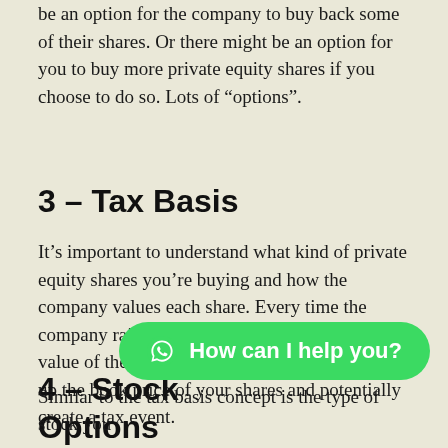be an option for the company to buy back some of their shares. Or there might be an option for you to buy more private equity shares if you choose to do so. Lots of “options”.
3 – Tax Basis
It’s important to understand what kind of private equity shares you’re buying and how the company values each share. Every time the company raises more money from investors the value of the company goes up. This could drive up the book price of your shares and potentially create a tax event.
4 – Stock Options
Similar to the tax basis concept is the type of stock you
[Figure (other): WhatsApp chat button with text 'How can I help you?']